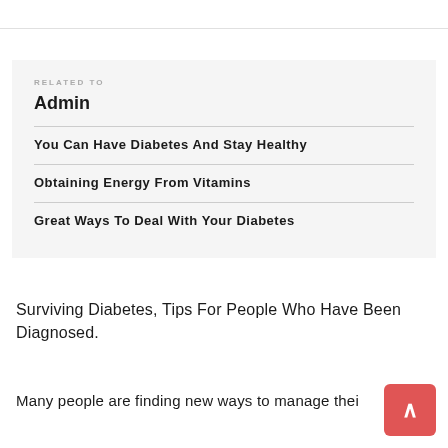RELATED TO
Admin
You Can Have Diabetes And Stay Healthy
Obtaining Energy From Vitamins
Great Ways To Deal With Your Diabetes
Surviving Diabetes, Tips For People Who Have Been Diagnosed.
Many people are finding new ways to manage their